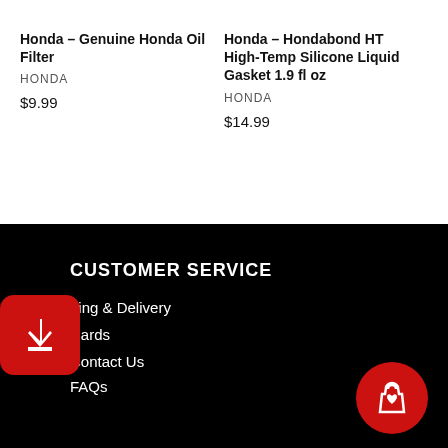Honda – Genuine Honda Oil Filter
HONDA
$9.99
Honda – Hondabond HT High-Temp Silicone Liquid Gasket 1.9 fl oz
HONDA
$14.99
CUSTOMER SERVICE
Shipping & Delivery
Gift Cards
Contact Us
FAQs